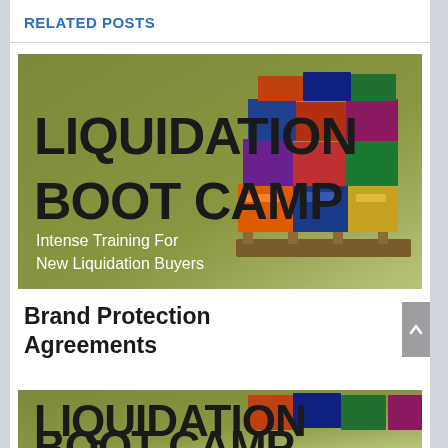RELATED POSTS
[Figure (photo): Liquidation Boot Camp banner image with olive green background, text 'LIQUIDATION BOOT CAMP' in large black stencil font, subtitle 'Intense Training For New Liquidation Buyers' in white, and a pallet stacked with colorful merchandise boxes on the right side.]
Brand Protection Agreements
[Figure (photo): Partial view of the same Liquidation Boot Camp banner image, showing the top portion with 'LIQUIDATION' and partial 'BOOT CAMP' text in large black stencil font, and boxes of merchandise on the right.]